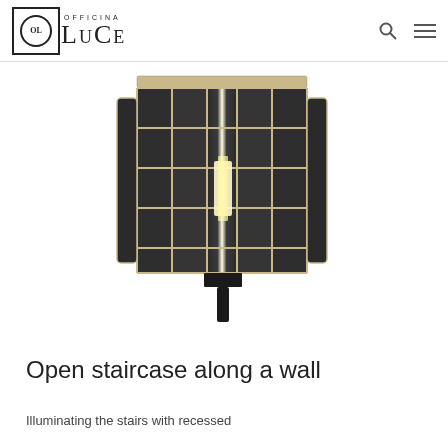OFFICINA LUCE
[Figure (photo): Wall sconce lamp with dark smoked glass panels arranged in a cylindrical/lantern shape, divided by thin metallic gold/brass grid lines. The fixture has a black bracket mount and emits warm light from within.]
Open staircase along a wall
Illuminating the stairs with recessed